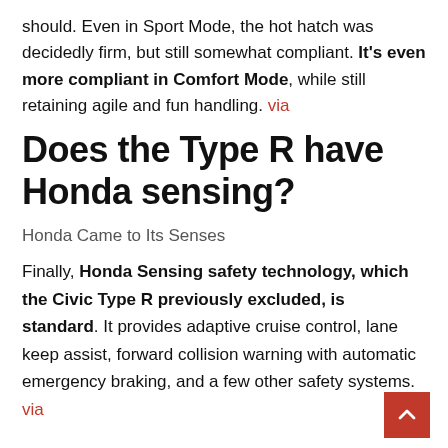should. Even in Sport Mode, the hot hatch was decidedly firm, but still somewhat compliant. It's even more compliant in Comfort Mode, while still retaining agile and fun handling. via
Does the Type R have Honda sensing?
Honda Came to Its Senses
Finally, Honda Sensing safety technology, which the Civic Type R previously excluded, is standard. It provides adaptive cruise control, lane keep assist, forward collision warning with automatic emergency braking, and a few other safety systems. via